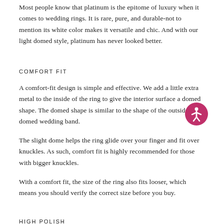Most people know that platinum is the epitome of luxury when it comes to wedding rings. It is rare, pure, and durable-not to mention its white color makes it versatile and chic. And with our light domed style, platinum has never looked better.
COMFORT FIT
A comfort-fit design is simple and effective. We add a little extra metal to the inside of the ring to give the interior surface a domed shape. The domed shape is similar to the shape of the outside of a domed wedding band.
The slight dome helps the ring glide over your finger and fit over knuckles. As such, comfort fit is highly recommended for those with bigger knuckles.
With a comfort fit, the size of the ring also fits looser, which means you should verify the correct size before you buy.
HIGH POLISH